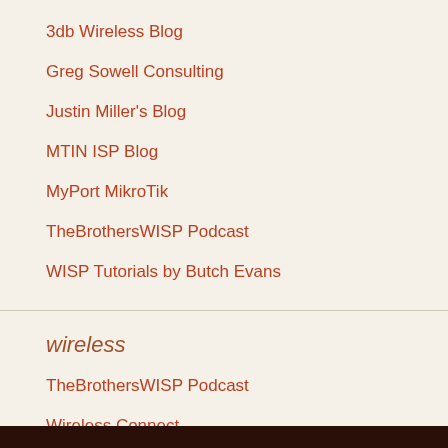3db Wireless Blog
Greg Sowell Consulting
Justin Miller's Blog
MTIN ISP Blog
MyPort MikroTik
TheBrothersWISP Podcast
WISP Tutorials by Butch Evans
wireless
TheBrothersWISP Podcast
Wireless Connect